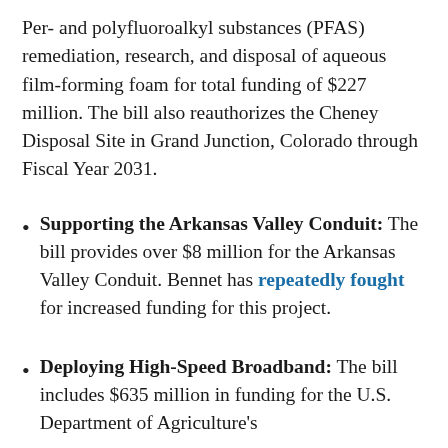Per- and polyfluoroalkyl substances (PFAS) remediation, research, and disposal of aqueous film-forming foam for total funding of $227 million. The bill also reauthorizes the Cheney Disposal Site in Grand Junction, Colorado through Fiscal Year 2031.
Supporting the Arkansas Valley Conduit: The bill provides over $8 million for the Arkansas Valley Conduit. Bennet has repeatedly fought for increased funding for this project.
Deploying High-Speed Broadband: The bill includes $635 million in funding for the U.S. Department of Agriculture's